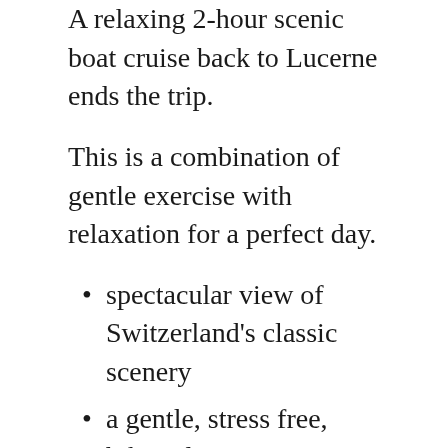A relaxing 2-hour scenic boat cruise back to Lucerne ends the trip.
This is a combination of gentle exercise with relaxation for a perfect day.
spectacular view of Switzerland's classic scenery
a gentle, stress free, bike ride experience
full day use of e-bike and helmet
two hour boat cruise on Lake Lucerne